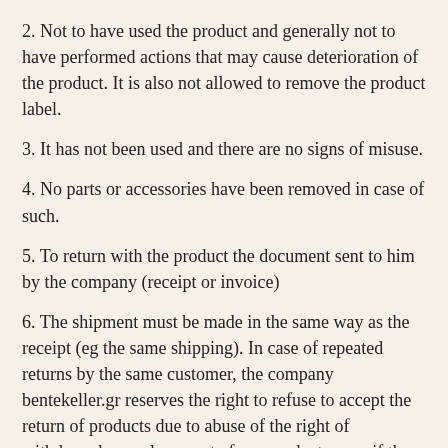2. Not to have used the product and generally not to have performed actions that may cause deterioration of the product. It is also not allowed to remove the product label.
3. It has not been used and there are no signs of misuse.
4. No parts or accessories have been removed in case of such.
5. To return with the product the document sent to him by the company (receipt or invoice)
6. The shipment must be made in the same way as the receipt (eg the same shipping). In case of repeated returns by the same customer, the company bentekeller.gr reserves the right to refuse to accept the return of products due to abuse of the right of withdrawal or replacement of our products even if the above terms and conditions are met (art. 288 of the Civil Code). the above legal procedure or if the legal conditions are not met to accept the return of the product, then it will be returned to the consumer, who will be charged with the additional packaging and shipping costs.